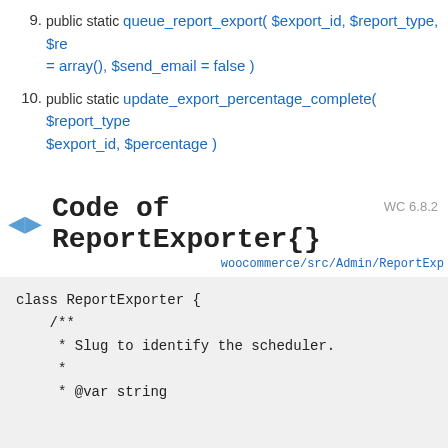9. public static queue_report_export( $export_id, $report_type, $re... = array(), $send_email = false )
10. public static update_export_percentage_complete( $report_type... $export_id, $percentage )
Code of ReportExporter{}
WC 6.8.2
woocommerce/src/Admin/ReportExp...
[Figure (screenshot): PHP class code block showing: class ReportExporter { /** * Slug to identify the scheduler. * * @var string]